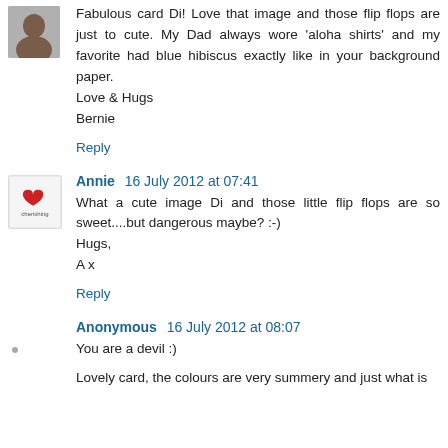Fabulous card Di! Love that image and those flip flops are just to cute. My Dad always wore 'aloha shirts' and my favorite had blue hibiscus exactly like in your background paper.
Love & Hugs
Bernie
Reply
Annie  16 July 2012 at 07:41
What a cute image Di and those little flip flops are so sweet....but dangerous maybe? :-)
Hugs,
A x
Reply
Anonymous  16 July 2012 at 08:07
You are a devil :)
Lovely card, the colours are very summery and just what is